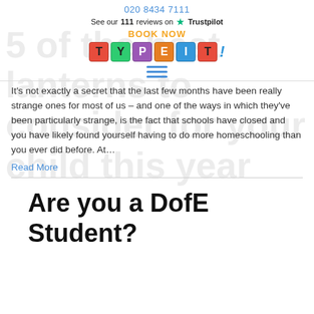020 8434 7111
See our 111 reviews on ★ Trustpilot
BOOK NOW
[Figure (logo): TypeIt! logo made of coloured letter tiles: T (red), Y (green), P (purple), E (orange), I (blue), T (red), followed by a blue exclamation mark]
[Figure (other): Hamburger menu icon with three blue horizontal lines]
5 of the best lanterns to consider for your child this year
It's not exactly a secret that the last few months have been really strange ones for most of us – and one of the ways in which they've been particularly strange, is the fact that schools have closed and you have likely found yourself having to do more homeschooling than you ever did before. At…
Read More
Are you a DofE Student?